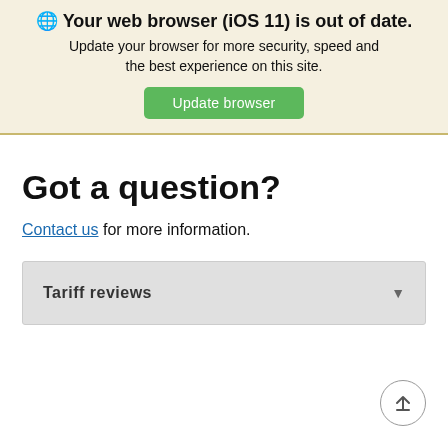🌐 Your web browser (iOS 11) is out of date. Update your browser for more security, speed and the best experience on this site. Update browser
Got a question?
Contact us for more information.
Tariff reviews